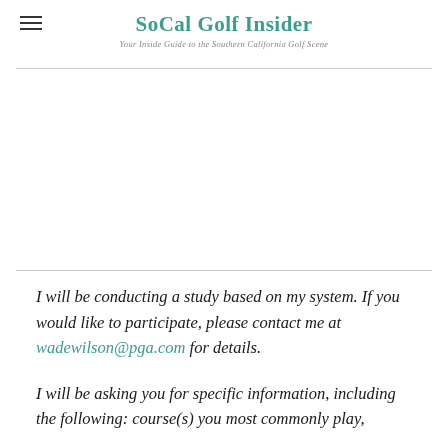SoCal Golf Insider
Your Inside Guide to the Southern California Golf Scene
I will be conducting a study based on my system. If you would like to participate, please contact me at wadewilson@pga.com for details.
I will be asking you for specific information, including the following: course(s) you most commonly play,